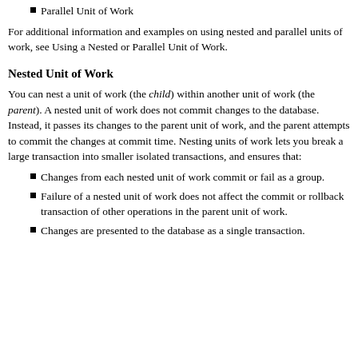Parallel Unit of Work
For additional information and examples on using nested and parallel units of work, see Using a Nested or Parallel Unit of Work.
Nested Unit of Work
You can nest a unit of work (the child) within another unit of work (the parent). A nested unit of work does not commit changes to the database. Instead, it passes its changes to the parent unit of work, and the parent attempts to commit the changes at commit time. Nesting units of work lets you break a large transaction into smaller isolated transactions, and ensures that:
Changes from each nested unit of work commit or fail as a group.
Failure of a nested unit of work does not affect the commit or rollback transaction of other operations in the parent unit of work.
Changes are presented to the database as a single transaction.